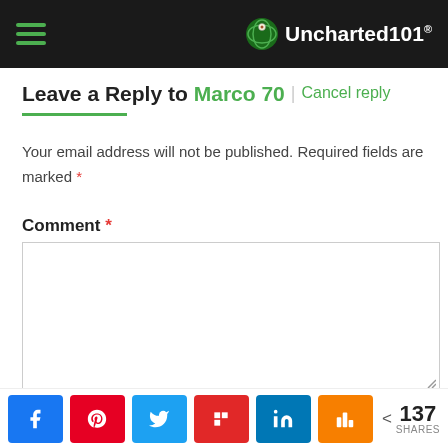Uncharted101
Leave a Reply to Marco 70 | Cancel reply
Your email address will not be published. Required fields are marked *
Comment *
Name *
[Figure (screenshot): Social share buttons bar with Facebook, Pinterest, Twitter, Flipboard, LinkedIn, Mix icons and share count of 137]